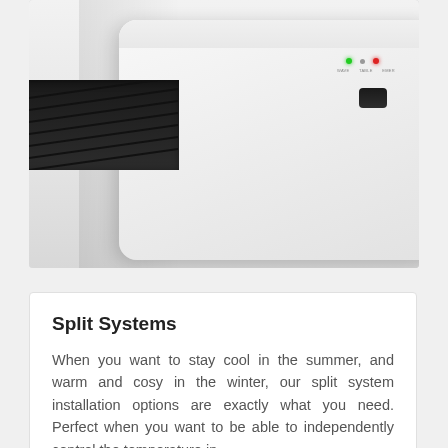[Figure (photo): Close-up photograph of a white wall-mounted split system air conditioning unit with vents, green and red indicator lights, and an IR receiver/button on the front panel.]
Split Systems
When you want to stay cool in the summer, and warm and cosy in the winter, our split system installation options are exactly what you need. Perfect when you want to be able to independently control the temperature in